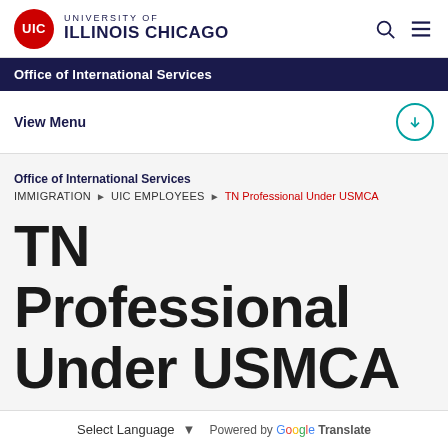UIC — University of Illinois Chicago
Office of International Services
View Menu
Office of International Services
IMMIGRATION ▶ UIC Employees ▶ TN Professional Under USMCA
TN Professional Under USMCA
Definition
Select Language ▾ Powered by Google Translate